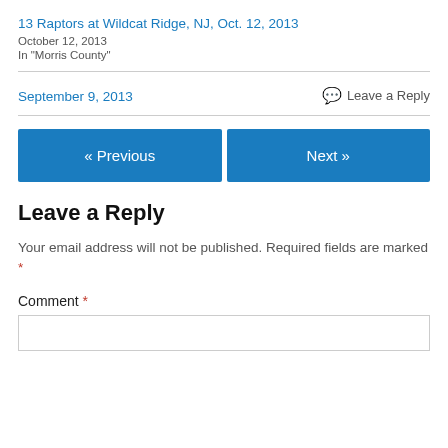13 Raptors at Wildcat Ridge, NJ, Oct. 12, 2013
October 12, 2013
In "Morris County"
September 9, 2013
Leave a Reply
« Previous
Next »
Leave a Reply
Your email address will not be published. Required fields are marked *
Comment *